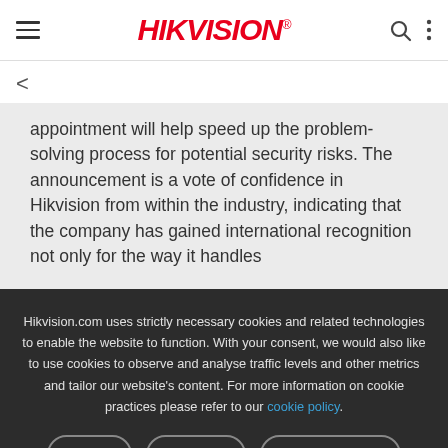HIKVISION®
appointment will help speed up the problem-solving process for potential security risks. The announcement is a vote of confidence in Hikvision from within the industry, indicating that the company has gained international recognition not only for the way it handles
Hikvision.com uses strictly necessary cookies and related technologies to enable the website to function. With your consent, we would also like to use cookies to observe and analyse traffic levels and other metrics and tailor our website's content. For more information on cookie practices please refer to our cookie policy.
Accept | Reject All | Manage Cookies